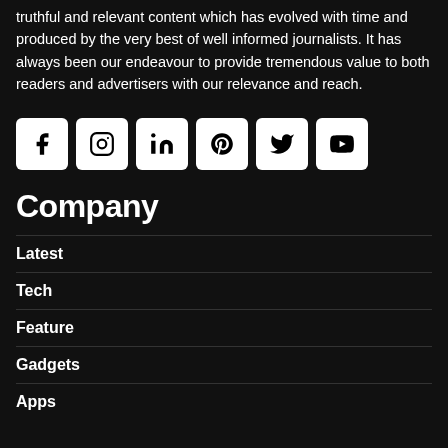truthful and relevant content which has evolved with time and produced by the very best of well informed journalists. It has always been our endeavour to provide tremendous value to both readers and advertisers with our relevance and reach.
[Figure (illustration): Row of 6 social media icon buttons (Facebook, Instagram, LinkedIn, Pinterest, Twitter, YouTube) with white backgrounds and black icons on dark background]
Company
Latest
Tech
Feature
Gadgets
Apps